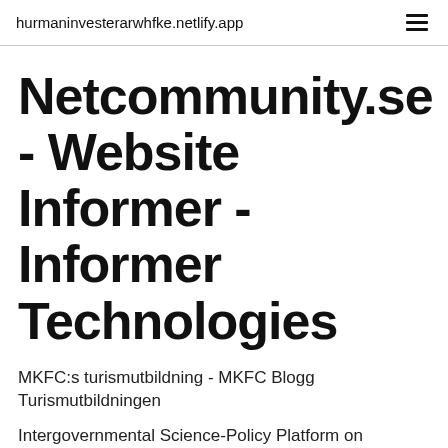hurmaninvesterarwhfke.netlify.app
Netcommunity.se - Website Informer - Informer Technologies
MKFC:s turismutbildning - MKFC Blogg Turismutbildningen
Intergovernmental Science-Policy Platform on